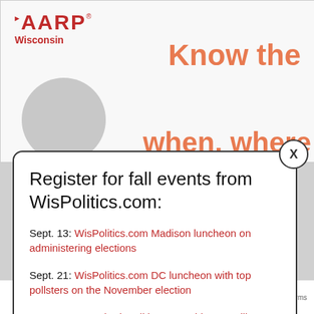[Figure (screenshot): AARP Wisconsin advertisement banner showing 'Know the when, where' text in orange with a partial circle/person image]
Register for fall events from WisPolitics.com:
Sept. 13: WisPolitics.com Madison luncheon on administering elections
Sept. 21: WisPolitics.com DC luncheon with top pollsters on the November election
Sept. 29: Annual WisPolitics.com Midwest Polling Summit
Oct. 18: WisPolitics.com Madison luncheon on top legislative races
Tweets from @wispolitics  Follow  Privacy · Terms